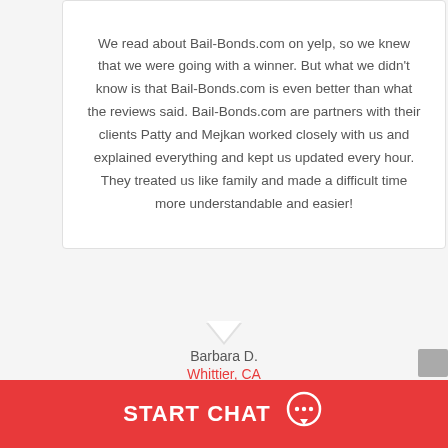We read about Bail-Bonds.com on yelp, so we knew that we were going with a winner. But what we didn't know is that Bail-Bonds.com is even better than what the reviews said. Bail-Bonds.com are partners with their clients Patty and Mejkan worked closely with us and explained everything and kept us updated every hour. They treated us like family and made a difficult time more understandable and easier!
Barbara D.
Whittier, CA
These guys are awesome! I bail out my brother never done this before and Agent Billy made it so easy and smooth process. Thanks a lot you guys. Hope I don't
START CHAT